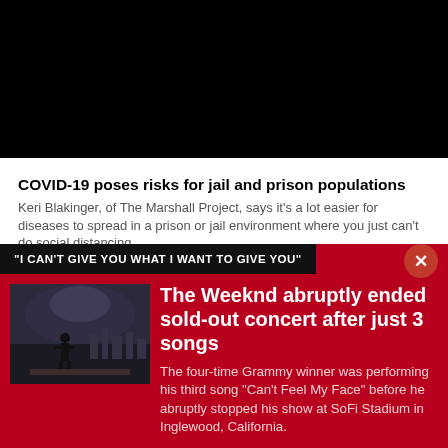[Figure (photo): Black video player area / placeholder]
COVID-19 poses risks for jail and prison populations
Keri Blakinger, of The Marshall Project, says it's a lot easier for diseases to spread in a prison or jail environment where you just can't do social distancing.
WASHINGTON (AP) - Black people have been
"I CAN'T GIVE YOU WHAT I WANT TO GIVE YOU"
[Figure (photo): Concert photo showing performer on stage with atmospheric lighting]
The Weeknd abruptly ended sold-out concert after just 3 songs
The four-time Grammy winner was performing his third song "Can't Feel My Face" before he abruptly stopped his show at SoFi Stadium in Inglewood, California.